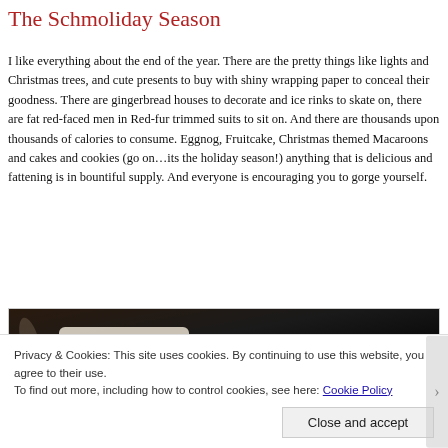The Schmoliday Season
I like everything about the end of the year. There are the pretty things like lights and Christmas trees, and cute presents to buy with shiny wrapping paper to conceal their goodness. There are gingerbread houses to decorate and ice rinks to skate on, there are fat red-faced men in Red-fur trimmed suits to sit on. And there are thousands upon thousands of calories to consume. Eggnog, Fruitcake, Christmas themed Macaroons and cakes and cookies (go on…its the holiday season!) anything that is delicious and fattening is in bountiful supply. And everyone is encouraging you to gorge yourself.
[Figure (photo): Dark photograph showing what appears to be baked goods or cookies on a plate against a dark background]
Privacy & Cookies: This site uses cookies. By continuing to use this website, you agree to their use.
To find out more, including how to control cookies, see here: Cookie Policy
Close and accept